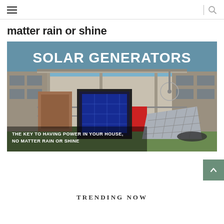≡  |  🔍
matter rain or shine
[Figure (photo): Solar generators promotional image showing solar panel equipment set up outdoors on grass next to a building with blue sky. Text overlay reads: 'SOLAR GENERATORS' at the top and 'THE KEY TO HAVING POWER IN YOUR HOUSE, NO MATTER RAIN OR SHINE' at the bottom.]
TRENDING NOW